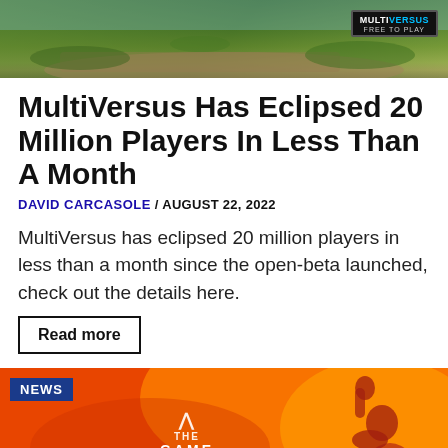[Figure (photo): MultiVersus game banner/advertisement showing a grassy outdoor environment with MultiVersus logo and 'Free To Play' tagline in the top right corner]
MultiVersus Has Eclipsed 20 Million Players In Less Than A Month
DAVID CARCASOLE / AUGUST 22, 2022
MultiVersus has eclipsed 20 million players in less than a month since the open-beta launched, check out the details here.
Read more
[Figure (photo): News article thumbnail showing an orange/red background with a silhouette of a person raising their fist, with 'THE GAME' logo text and a NEWS badge in the top left corner]